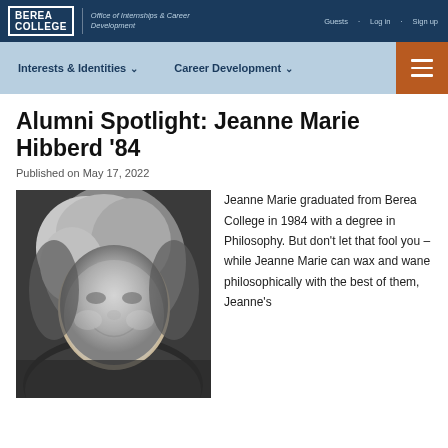Berea College Office of Internships & Career Development | Guests · Log in · Sign up
Interests & Identities ∨   Career Development ∨
Alumni Spotlight: Jeanne Marie Hibberd '84
Published on May 17, 2022
[Figure (photo): Black and white portrait photo of Jeanne Marie Hibberd, a woman with short light hair, smiling, wearing a collared top.]
Jeanne Marie graduated from Berea College in 1984 with a degree in Philosophy. But don't let that fool you – while Jeanne Marie can wax and wane philosophically with the best of them, Jeanne's